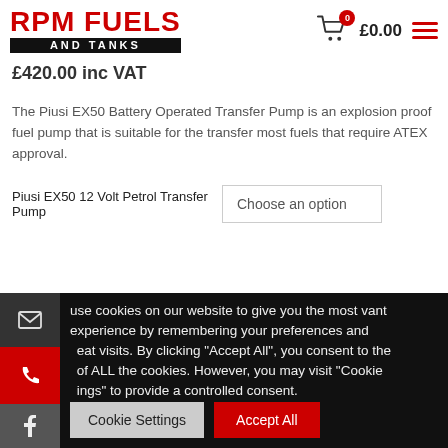RPM FUELS AND TANKS — £0.00
£420.00 inc VAT
The Piusi EX50 Battery Operated Transfer Pump is an explosion proof fuel pump that is suitable for the transfer most fuels that require ATEX approval.
Piusi EX50 12 Volt Petrol Transfer Pump — Choose an option
use cookies on our website to give you the most vant experience by remembering your preferences and εat visits. By clicking "Accept All", you consent to the of ALL the cookies. However, you may visit "Cookie ings" to provide a controlled consent.
Cookie Settings | Accept All